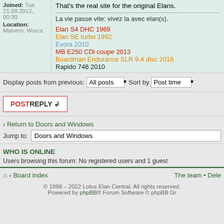Joined: Tue 21.08.2012, 00:30
Location: Malvern, Worcs
That's the real site for the original Elans.

La vie passe vite: vivez la avec elan(s).

Elan S4 DHC 1969
Elan SE turbo 1992
Evora 2010
MB E250 CDi coupe 2013
Boardman Endurance SLR 9.4 disc 2018
Rapido 746 2010
Display posts from previous: All posts   Sort by  Post time
POSTREPLY
Return to Doors and Windows
Jump to: Doors and Windows
WHO IS ONLINE
Users browsing this forum: No registered users and 1 guest
Board index   The team • Dele
© 1998 – 2022 Lotus Elan Central. All rights reserved.
Powered by phpBB® Forum Software © phpBB Gr